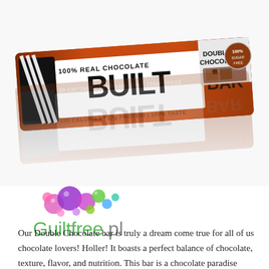[Figure (photo): Built Bar Double Chocolate protein bar wrapper in brown/orange packaging with text '100% REAL CHOCOLATE', 'BUILT BAR', '130 CALORIES | 17g PROTEIN | 100% TASTE', 'DOUBLE CHOCOLATE', shown with its mirror reflection below]
[Figure (logo): Guiltfree.pl logo: colorful bubbles (pink, purple, green, blue) above the text 'Guiltfree.pl' in green and grey]
Our Double Chocolate bar is truly a dream come true for all of us chocolate lovers! Holler! It boasts a perfect balance of chocolate, texture, flavor, and nutrition. This bar is a chocolate paradise inside and out, covered in our signature 100% real dark chocolate.